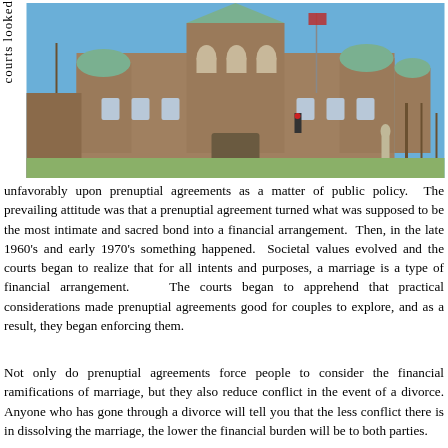[Figure (photo): Photograph of a historic stone courthouse building with green copper roofs, Romanesque architecture, flags in front, bare trees on a clear winter day.]
unfavorably upon prenuptial agreements as a matter of public policy. The prevailing attitude was that a prenuptial agreement turned what was supposed to be the most intimate and sacred bond into a financial arrangement. Then, in the late 1960's and early 1970's something happened. Societal values evolved and the courts began to realize that for all intents and purposes, a marriage is a type of financial arrangement. The courts began to apprehend that practical considerations made prenuptial agreements good for couples to explore, and as a result, they began enforcing them.
Not only do prenuptial agreements force people to consider the financial ramifications of marriage, but they also reduce conflict in the event of a divorce. Anyone who has gone through a divorce will tell you that the less conflict there is in dissolving the marriage, the lower the financial burden will be to both parties.